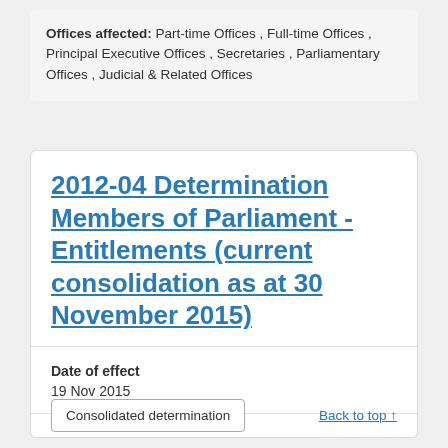Offices affected: Part-time Offices , Full-time Offices , Principal Executive Offices , Secretaries , Parliamentary Offices , Judicial & Related Offices
2012-04 Determination Members of Parliament - Entitlements (current consolidation as at 30 November 2015)
Date of effect
19 Nov 2015
Consolidated determination
Back to top ↑